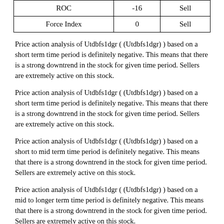| ROC | -16 | Sell |
| --- | --- | --- |
| Force Index | 0 | Sell |
Price action analysis of Utdbfs1dgr ( (Utdbfs1dgr) ) based on a short term time period is definitely negative. This means that there is a strong downtrend in the stock for given time period. Sellers are extremely active on this stock.
Price action analysis of Utdbfs1dgr ( (Utdbfs1dgr) ) based on a short term time period is definitely negative. This means that there is a strong downtrend in the stock for given time period. Sellers are extremely active on this stock.
Price action analysis of Utdbfs1dgr ( (Utdbfs1dgr) ) based on a short to mid term time period is definitely negative. This means that there is a strong downtrend in the stock for given time period. Sellers are extremely active on this stock.
Price action analysis of Utdbfs1dgr ( (Utdbfs1dgr) ) based on a mid to longer term time period is definitely negative. This means that there is a strong downtrend in the stock for given time period. Sellers are extremely active on this stock.
ADX buy sell signal for Utdbfs1dgr stock for short term is SELL. Signal strength is Weak and stock is losing momentum.
MACD generated a BUY signal for Utdbfs1dgr in short term